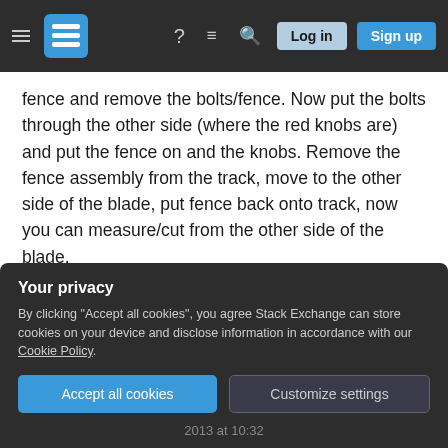Stack Exchange navigation bar with hamburger menu, logo, help, chat, search icons, Log in and Sign up buttons
fence and remove the bolts/fence. Now put the bolts through the other side (where the red knobs are) and put the fence on and the knobs. Remove the fence assembly from the track, move to the other side of the blade, put fence back onto track, now you can measure/cut from the other side of the blade.
Share
Improve this answer
Follow
answered Mar 23, 2013 at 6:28
Gunner
4,407 ●1 ●19 ●30
Your privacy
By clicking "Accept all cookies", you agree Stack Exchange can store cookies on your device and disclose information in accordance with our Cookie Policy.
Accept all cookies
Customize settings
2013 at 10:32